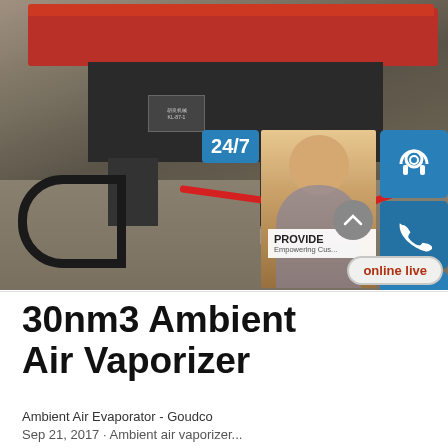[Figure (photo): Industrial machine (laser or CNC equipment) with red top casing and black base, with red and black cables on a concrete floor. Overlaid with customer service panel showing 24/7 badge, headset icon, phone icon, Skype icon, customer service agent photo, 'PROVIDE Empowering Cus...' text, and 'online live' button.]
30nm3 Ambient Air Vaporizer
Ambient Air Evaporator - Goudco
Sep 21, 2017 · Ambient air vaporizer...